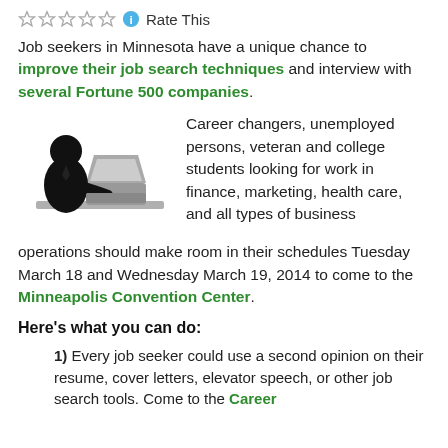☆☆☆☆☆ ℹ Rate This
Job seekers in Minnesota have a unique chance to improve their job search techniques and interview with several Fortune 500 companies.
[Figure (illustration): Silhouette of a person in business attire sitting at a desk using a laptop computer]
Career changers, unemployed persons, veteran and college students looking for work in finance, marketing, health care, and all types of business operations should make room in their schedules Tuesday March 18 and Wednesday March 19, 2014 to come to the Minneapolis Convention Center.
Here's what you can do:
1) Every job seeker could use a second opinion on their resume, cover letters, elevator speech, or other job search tools. Come to the Career